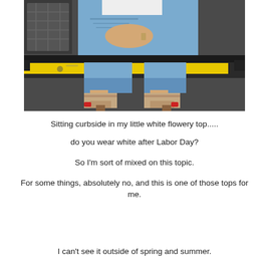[Figure (photo): A person sitting curbside on a yellow-striped curb/street, wearing ripped blue jeans rolled up at the cuff, a white flowery top (partially visible), and nude/tan strappy block-heel sandals showing red painted toenails. The background is dark asphalt pavement.]
Sitting curbside in my little white flowery top.....
do you wear white after Labor Day?
So I'm sort of mixed on this topic.
For some things, absolutely no, and this is one of those tops for me.
I can't see it outside of spring and summer.